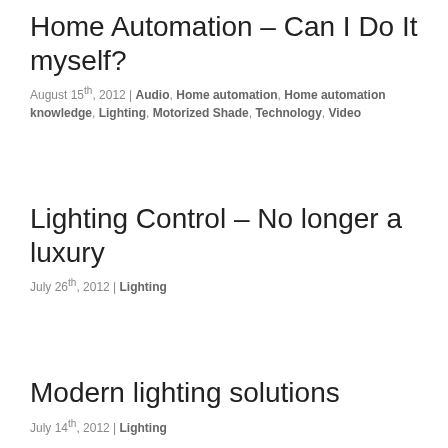Home Automation – Can I Do It myself?
August 15th, 2012 | Audio, Home automation, Home automation knowledge, Lighting, Motorized Shade, Technology, Video
Lighting Control – No longer a luxury
July 26th, 2012 | Lighting
Modern lighting solutions
July 14th, 2012 | Lighting